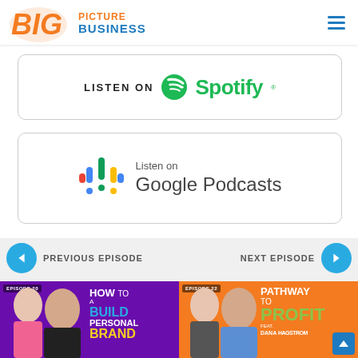[Figure (logo): Big Picture Business logo with orange BIG text, orange PICTURE and blue BUSINESS text]
[Figure (logo): Listen on Spotify badge with green Spotify icon and wordmark]
[Figure (logo): Listen on Google Podcasts badge with colorful mic icon]
PREVIOUS EPISODE
NEXT EPISODE
[Figure (illustration): Episode 20 thumbnail - How to Build a Personal Brand, purple background with two people]
[Figure (illustration): Episode 22 thumbnail - Pathway to Profit featuring Dana Hagstrom, orange background with two people]